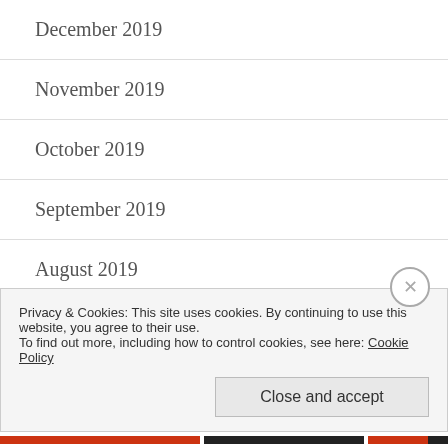December 2019
November 2019
October 2019
September 2019
August 2019
July 2019
Privacy & Cookies: This site uses cookies. By continuing to use this website, you agree to their use.
To find out more, including how to control cookies, see here: Cookie Policy
Close and accept